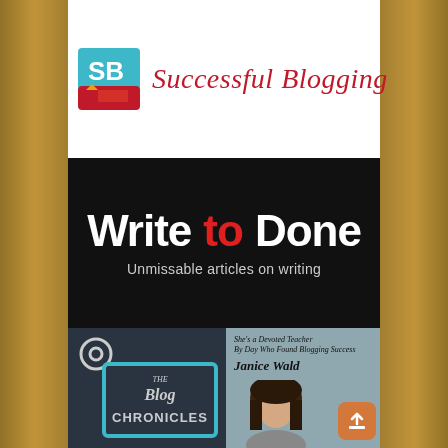[Figure (logo): Successful Blogging logo with SB icon and cursive text]
[Figure (logo): Write to Done banner - Unmissable articles on writing]
[Figure (logo): The Blog Chronicles logo on dark background]
[Figure (photo): Janice Wald - She's a Devoted Teacher By Day Who Found Blogging Success, with photo of woman]